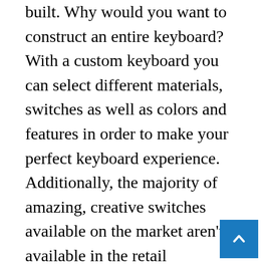built. Why would you want to construct an entire keyboard? With a custom keyboard you can select different materials, switches as well as colors and features in order to make your perfect keyboard experience. Additionally, the majority of amazing, creative switches available on the market aren't available in the retail keyboards.
The mentioned Zealio switches are well-known and are available in a variety of variations. There are a number of Kailh switches that come with extra spring weights and click styles which don't come with the Cherry equivalent. Check out the options at